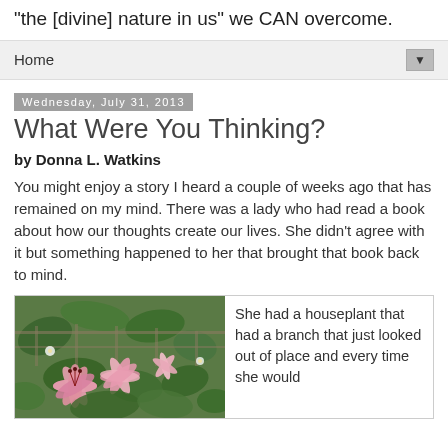"the [divine] nature in us" we CAN overcome.
Home
Wednesday, July 31, 2013
What Were You Thinking?
by Donna L. Watkins
You might enjoy a story I heard a couple of weeks ago that has remained on my mind. There was a lady who had read a book about how our thoughts create our lives. She didn't agree with it but something happened to her that brought that book back to mind.
[Figure (photo): Photo of pink lily flowers and other blooms in green foliage outdoors]
She had a houseplant that had a branch that just looked out of place and every time she would